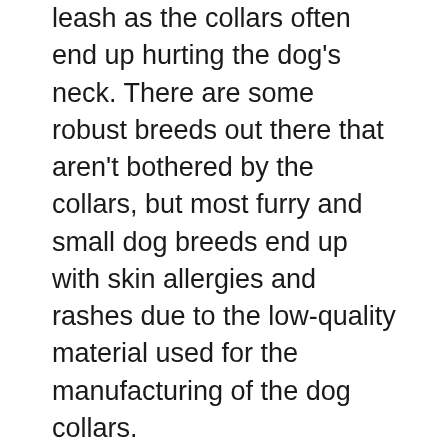leash as the collars often end up hurting the dog's neck. There are some robust breeds out there that aren't bothered by the collars, but most furry and small dog breeds end up with skin allergies and rashes due to the low-quality material used for the manufacturing of the dog collars.
So if you have a dog, then you must always be on the lookout for a great dog collar that would provide the comfort that your dog needs so that he or she doesn't try to get it off or chew on it to get rid of it.
We understand that finding the right dog collar isn't easy as there are multiple pet accessories brands out there launching their new line of